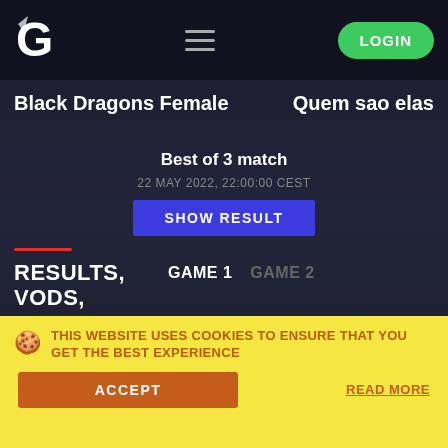[Figure (screenshot): Website navigation bar with logo, hamburger menu, and green LOGIN button]
Black Dragons Female
Quem sao elas
Best of 3 match
22 MAY 2022, 22:00:00 CEST
SHOW RESULT
RESULTS, VODS, DRAFTS
GAME 1
GAME 2
BLACK DRAGONS FEMALE VS QUEM SAO ELAS
THIS WEBSITE USES COOKIES TO ENSURE THAT YOU GET THE BEST EXPERIENCE
ACCEPT
READ MORE